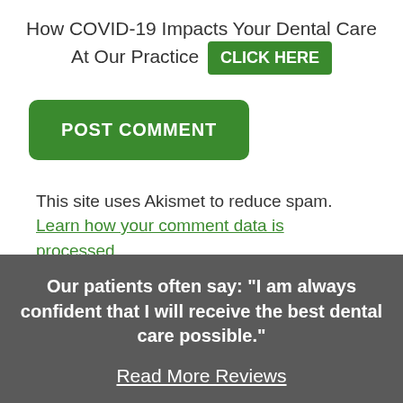How COVID-19 Impacts Your Dental Care At Our Practice CLICK HERE
POST COMMENT
This site uses Akismet to reduce spam. Learn how your comment data is processed.
Our patients often say: "I am always confident that I will receive the best dental care possible."
Read More Reviews